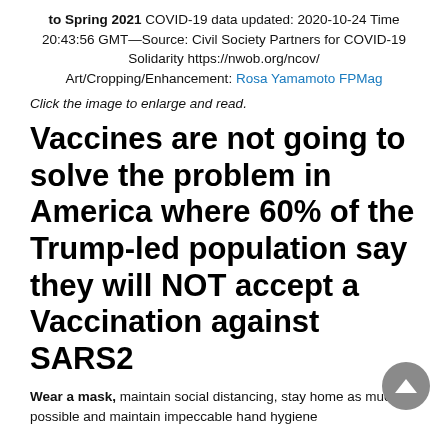to Spring 2021 COVID-19 data updated: 2020-10-24 Time 20:43:56 GMT—Source: Civil Society Partners for COVID-19 Solidarity https://nwob.org/ncov/ Art/Cropping/Enhancement: Rosa Yamamoto FPMag
Click the image to enlarge and read.
Vaccines are not going to solve the problem in America where 60% of the Trump-led population say they will NOT accept a Vaccination against SARS2
Wear a mask, maintain social distancing, stay home as much as possible and maintain impeccable hand hygiene